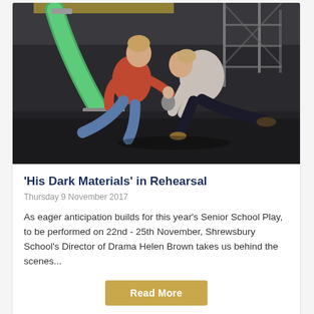[Figure (photo): Two performers in a rehearsal scene on a dark stage floor. One person in a red top is kneeling/lunging while another in a grey sweatshirt is bent forward. A green slide prop is visible in the background along with scaffolding and industrial staging equipment.]
'His Dark Materials' in Rehearsal
Thursday 9 November 2017
As eager anticipation builds for this year's Senior School Play, to be performed on 22nd - 25th November, Shrewsbury School's Director of Drama Helen Brown takes us behind the scenes...
Read More